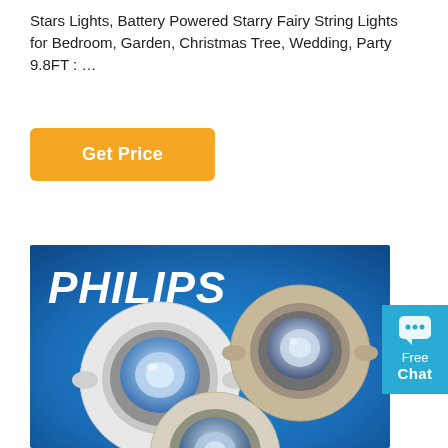Stars Lights, Battery Powered Starry Fairy String Lights for Bedroom, Garden, Christmas Tree, Wedding, Party 9.8FT : …
[Figure (other): Orange 'Get Price' button]
[Figure (photo): Philips branded product photo showing three round recessed LED downlight fixtures on a blue gradient background. The PHILIPS logo in white italic bold is in the top-left. Two fully visible circular downlights (one white, one silver/champagne) and one partially visible at the bottom center.]